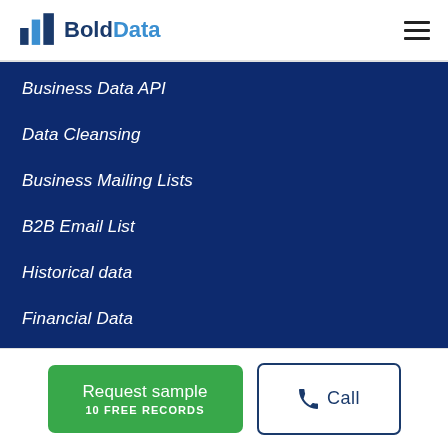BoldData
Business Data API
Data Cleansing
Business Mailing Lists
B2B Email List
Historical data
Financial Data
Lists & Directories
Companies
Request sample
10 FREE RECORDS
Call